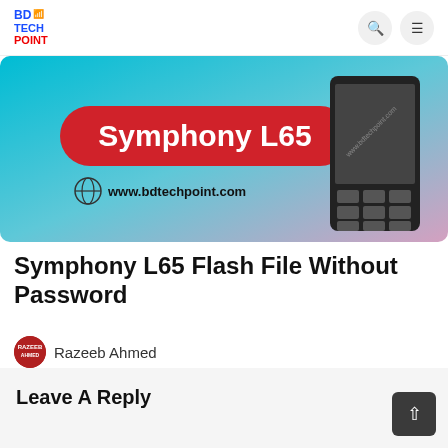BD TECH POINT
[Figure (illustration): Hero banner image for Symphony L65. Gradient background from teal/cyan on the left to pink/lavender on the right. Large red rounded rectangle badge with white bold text 'Symphony L65'. Globe icon with text 'www.bdtechpoint.com'. A feature phone (Symphony L65) displayed on the right side. Watermark text 'www.bdtechpoint.com' diagonally across the phone.]
Symphony L65 Flash File Without Password
Razeeb Ahmed
Leave A Reply